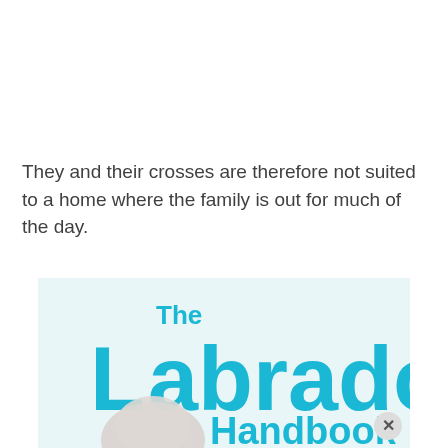They and their crosses are therefore not suited to a home where the family is out for much of the day.
[Figure (illustration): Advertisement banner for 'The Labrador Handbook' book, with teal/cyan text on a light mint background, featuring a labrador dog image and a close (X) button in the bottom right corner.]